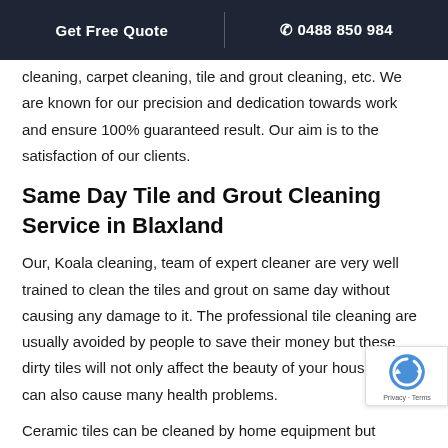Get Free Quote  |  📞 0488 850 984
cleaning, carpet cleaning, tile and grout cleaning, etc. We are known for our precision and dedication towards work and ensure 100% guaranteed result. Our aim is to the satisfaction of our clients.
Same Day Tile and Grout Cleaning Service in Blaxland
Our, Koala cleaning, team of expert cleaner are very well trained to clean the tiles and grout on same day without causing any damage to it. The professional tile cleaning are usually avoided by people to save their money but these dirty tiles will not only affect the beauty of your house but can also cause many health problems.
Ceramic tiles can be cleaned by home equipment but